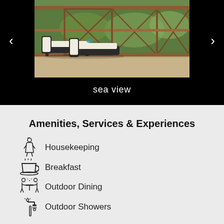[Figure (photo): Hotel balcony with wicker lounge chairs and white cushions, wooden railing with X-pattern, lush greenery in background. Image shown in a carousel on a black background.]
sea view
Amenities, Services & Experiences
Housekeeping
Breakfast
Outdoor Dining
Outdoor Showers